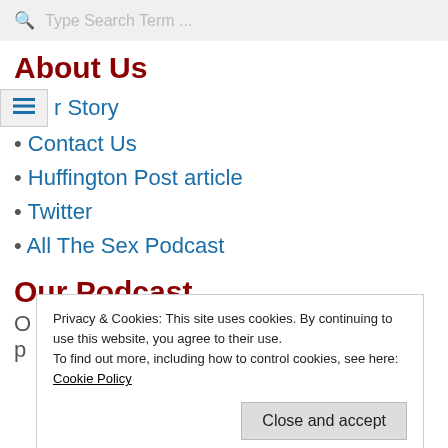Type Search Term ...
About Us
r Story
Contact Us
Huffington Post article
Twitter
All The Sex Podcast
Our Podcast
Privacy & Cookies: This site uses cookies. By continuing to use this website, you agree to their use.
To find out more, including how to control cookies, see here: Cookie Policy
Close and accept
Sticker   Cast Box